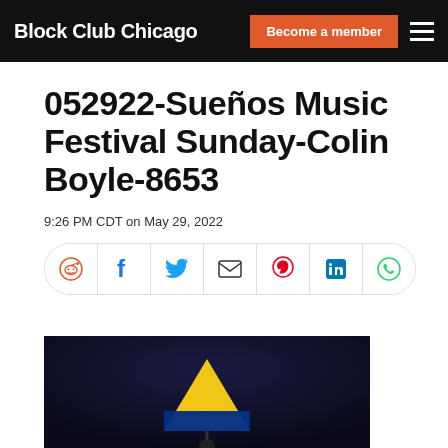Block Club Chicago | Become a member
052922-Sueños Music Festival Sunday-Colin Boyle-8653
9:26 PM CDT on May 29, 2022
[Figure (other): Social sharing buttons: Reddit, Facebook, Twitter, Email, Pinterest, LinkedIn, WhatsApp]
[Figure (photo): Dark night sky background with a person holding a yellow and blue flag (Colombian flag) raised up]